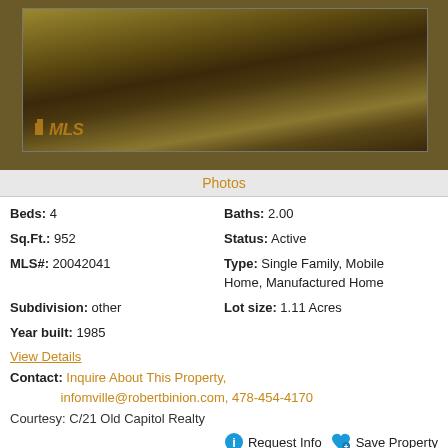[Figure (photo): Outdoor photo of a grassy yard with shadows and dirt patches, MLS watermark logo visible]
Photos
Beds: 4
Baths: 2.00
Sq.Ft.: 952
Status: Active
MLS#: 20042041
Type: Single Family, Mobile Home, Manufactured Home
Subdivision: other
Lot size: 1.11 Acres
Year built: 1985
View Details
Contact: Inquire About This Property, infomville@robertbinion.com, 478-454-4170
Courtesy: C/21 Old Capitol Realty
Request Info   Save Property